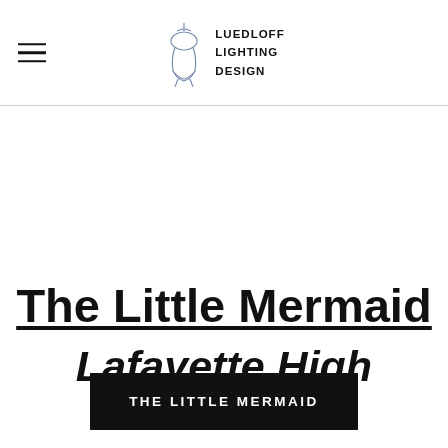LUEDLOFF LIGHTING DESIGN
The Little Mermaid
Lafayette High School
THE LITTLE MERMAID